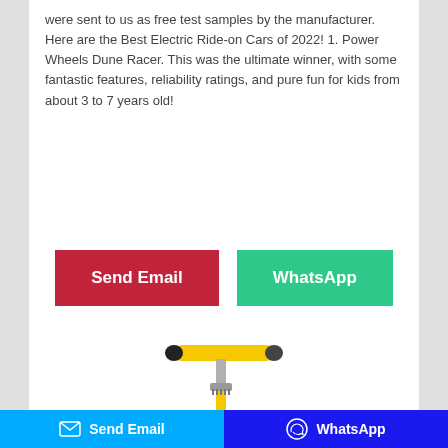were sent to us as free test samples by the manufacturer. Here are the Best Electric Ride-on Cars of 2022! 1. Power Wheels Dune Racer. This was the ultimate winner, with some fantastic features, reliability ratings, and pure fun for kids from about 3 to 7 years old!
[Figure (screenshot): Two buttons: a dark red 'Send Email' button and a green 'WhatsApp' button]
[Figure (photo): Yellow pogo stick toy photographed on white background]
Send Email   WhatsApp